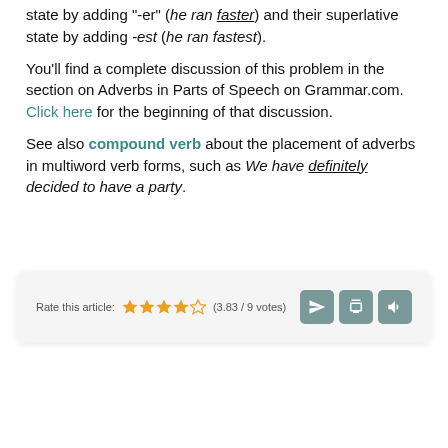state by adding "-er" (he ran faster) and their superlative state by adding -est (he ran fastest).
You'll find a complete discussion of this problem in the section on Adverbs in Parts of Speech on Grammar.com. Click here for the beginning of that discussion.
See also compound verb about the placement of adverbs in multiword verb forms, such as We have definitely decided to have a party.
[Figure (infographic): Rate this article widget with 3.83/9 votes star rating and three icon buttons (send, print, audio)]